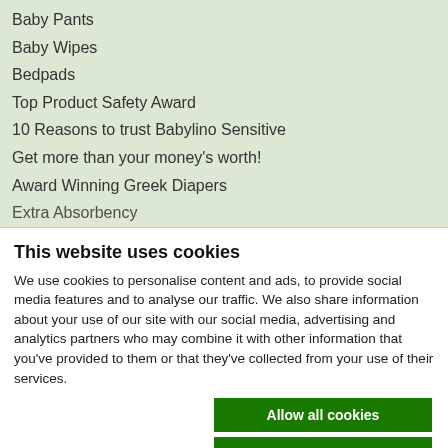Baby Pants
Baby Wipes
Bedpads
Top Product Safety Award
10 Reasons to trust Babylino Sensitive
Get more than your money's worth!
Award Winning Greek Diapers
Extra Absorbency
This website uses cookies
We use cookies to personalise content and ads, to provide social media features and to analyse our traffic. We also share information about your use of our site with our social media, advertising and analytics partners who may combine it with other information that you've provided to them or that they've collected from your use of their services.
Allow all cookies
Allow selection
Use necessary cookies only
Necessary  Preferences  Statistics  Marketing  Show details